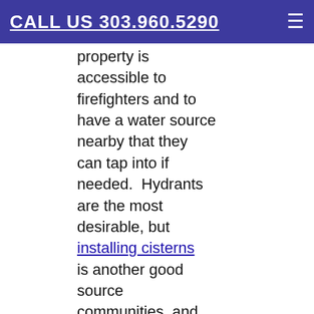CALL US 303.960.5290
property is accessible to firefighters and to have a water source nearby that they can tap into if needed.  Hydrants are the most desirable, but installing cisterns is another good source communities  and individual homeowners should consider installing if hydrants are not possible in their